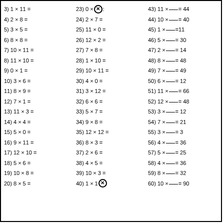Column 1: multiplication problems 3-20
Column 2: multiplication problems 23-40
Column 3: missing factor problems 43-60